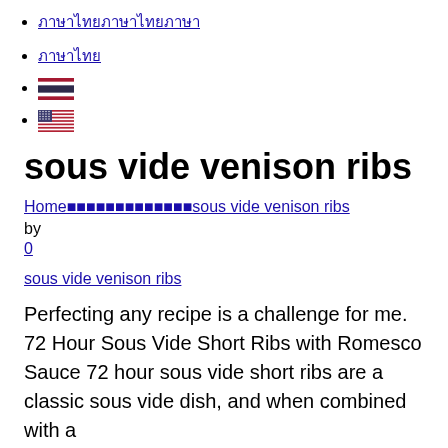ภาษาไทย (Thai characters underlined link)
ภาษา (shorter Thai characters underlined link)
Thai flag icon
US flag icon
sous vide venison ribs
Home › sous vide venison ribs (breadcrumb link)
by
0
sous vide venison ribs
Perfecting any recipe is a challenge for me. 72 Hour Sous Vide Short Ribs with Romesco Sauce 72 hour sous vide short ribs are a classic sous vide dish, and when combined with a